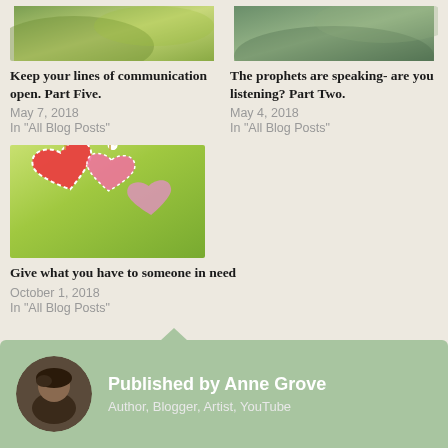[Figure (photo): Outdoor nature photo with green and yellow tones]
Keep your lines of communication open. Part Five.
May 7, 2018
In "All Blog Posts"
[Figure (photo): Outdoor nature photo with blue-green tones]
The prophets are speaking- are you listening? Part Two.
May 4, 2018
In "All Blog Posts"
[Figure (photo): Decorative fabric hearts hanging on strings with daisies against a green background]
Give what you have to someone in need
October 1, 2018
In "All Blog Posts"
Published by Anne Grove
Author, Blogger, Artist, YouTube